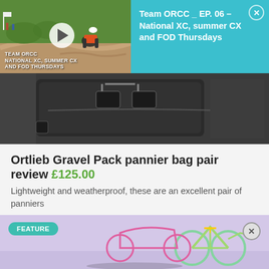[Figure (screenshot): Video thumbnail showing cyclist riding on dirt track with play button overlay and text 'TEAM ORCC NATIONAL XC, SUMMER CX AND FOD THURSDAYS'. Right side shows cyan panel with episode title 'Team ORCC _ EP. 06 – National XC, summer CX and FOD Thursdays' with close button.]
[Figure (photo): Close-up photo of Ortlieb Gravel Pack pannier bag in dark/black color showing bag hardware and texture]
Ortlieb Gravel Pack pannier bag pair review £125.00
Lightweight and weatherproof, these are an excellent pair of panniers
[Figure (screenshot): Feature section showing colorful bicycle (green/mint colored bike) with 'FEATURE' badge in teal and close X button. Overlaid Hotels.com advertisement banner with 'BOOK NOW' button.]